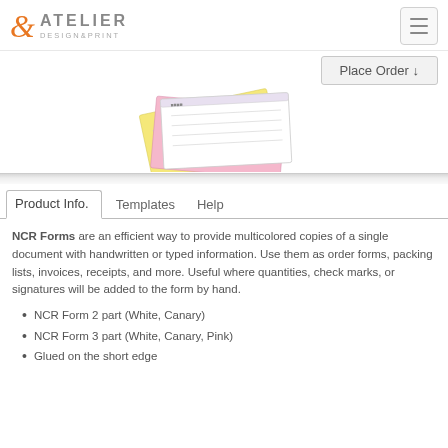& ATELIER DESIGN&PRINT
[Figure (screenshot): Navigation hamburger menu button in top-right header]
Place Order ↓
[Figure (photo): Stacked NCR multipart forms in white, yellow, and pink colors fanned out]
Product Info.    Templates    Help
NCR Forms are an efficient way to provide multicolored copies of a single document with handwritten or typed information. Use them as order forms, packing lists, invoices, receipts, and more. Useful where quantities, check marks, or signatures will be added to the form by hand.
NCR Form 2 part (White, Canary)
NCR Form 3 part (White, Canary, Pink)
Glued on the short edge